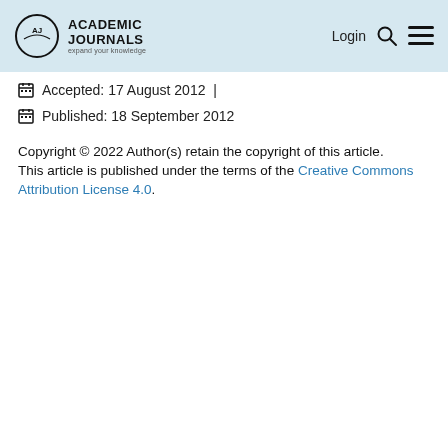Academic Journals — Login
Accepted: 17 August 2012 |
Published: 18 September 2012
Copyright © 2022 Author(s) retain the copyright of this article.
This article is published under the terms of the Creative Commons Attribution License 4.0.
[Figure (illustration): Cover image of African Journal of Agricultural Research by Academic Journals, showing journal title text over a green plant background with the Academic Journals logo in the top right corner.]